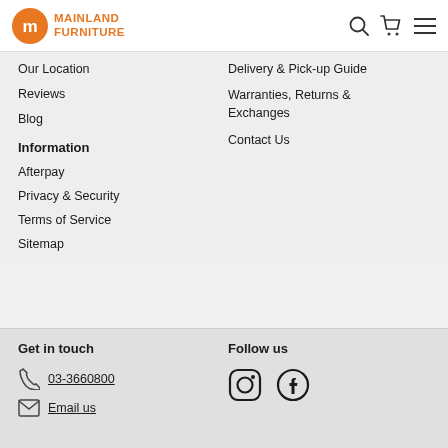[Figure (logo): Mainland Furniture logo with orange circle containing 'm' icon and orange bold text MAINLAND FURNITURE]
[Figure (other): Header navigation icons: search, cart, menu]
Our Location
Reviews
Blog
Delivery & Pick-up Guide
Warranties, Returns & Exchanges
Contact Us
Information
Afterpay
Privacy & Security
Terms of Service
Sitemap
Get in touch
03-3660800
Email us
Follow us
[Figure (other): Instagram and Facebook social media icons]